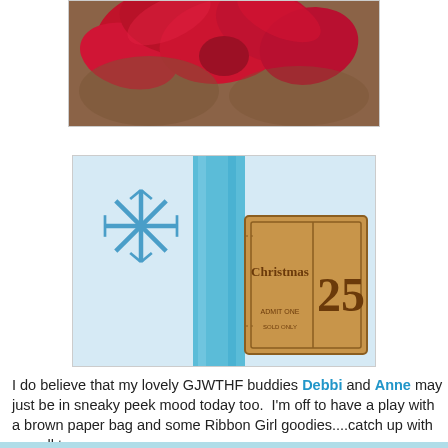[Figure (photo): Close-up photo of a teddy bear with a large red ribbon/bow, cropped to show mainly the red bow at the top.]
[Figure (photo): Close-up photo of a wooden Christmas ornament ticket reading 'Christmas ADMIT ONE' with the number '25' and text 'SOLD ONLY', decorated with a blue ribbon and snowflake pattern in the background.]
I do believe that my lovely GJWTHF buddies Debbi and Anne may just be in sneaky peek mood today too.  I'm off to have a play with a brown paper bag and some Ribbon Girl goodies....catch up with you all tomorrow.
                    Hugs Kath xxx